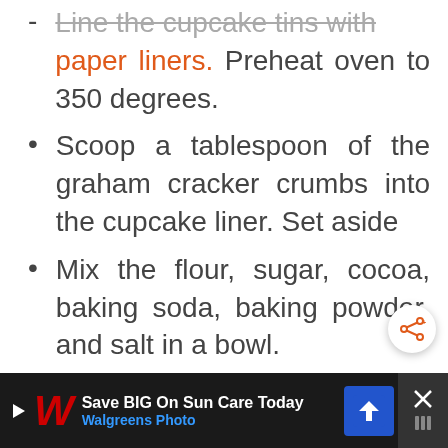Line the cupcake tins with paper liners. Preheat oven to 350 degrees.
Scoop a tablespoon of the graham cracker crumbs into the cupcake liner. Set aside
Mix the flour, sugar, cocoa, baking soda, baking powder, and salt in a bowl.
In a separate bowl add the
[Figure (other): Share button - circular button with share icon]
[Figure (other): Walgreens advertisement banner: Save BIG On Sun Care Today - Walgreens Photo]